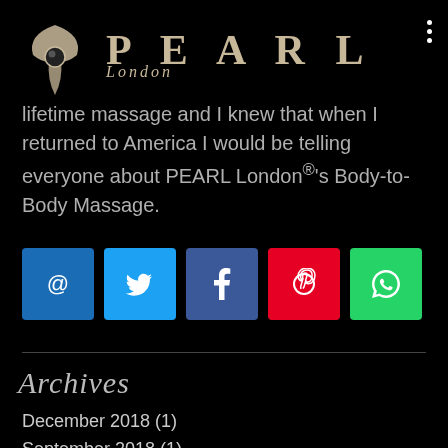[Figure (logo): PEARL London logo with stylized pearl drop emblem and text]
lifetime massage and I knew that when I returned to America I would be telling everyone about PEARL London®'s Body-to-Body Massage.
[Figure (infographic): Social sharing icons: email, Twitter, Facebook, Pinterest, WhatsApp]
Archives
December 2018 (1)
September 2018 (1)
May 2017 (1)
April 2017 (1)
February 2017 (1)